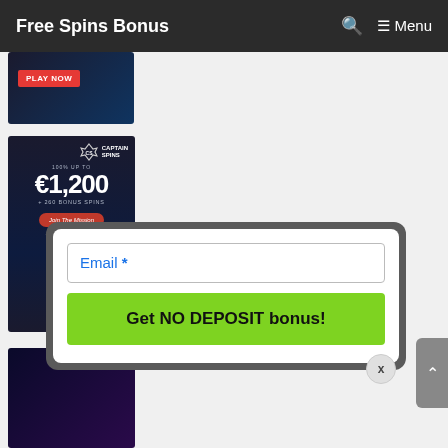Free Spins Bonus  🔍  ≡ Menu
[Figure (screenshot): Casino ad with PLAY NOW red button on dark background, partially visible at top]
[Figure (screenshot): Captain Spins casino banner: 100% UP TO €1,200 + 260 BONUS SPINS, Join The Mission button]
[Figure (screenshot): JackpotCity casino banner partially visible]
[Figure (screenshot): Popup modal with email field and Get NO DEPOSIT bonus! green CTA button, with X close button]